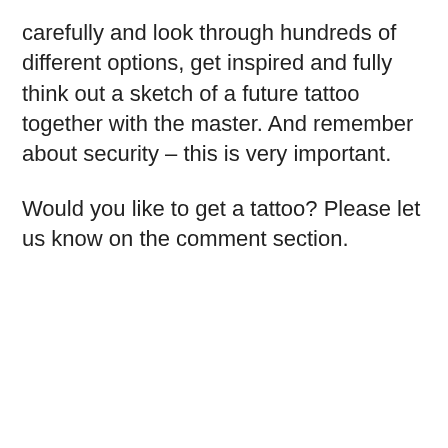carefully and look through hundreds of different options, get inspired and fully think out a sketch of a future tattoo together with the master. And remember about security – this is very important.
Would you like to get a tattoo? Please let us know on the comment section.